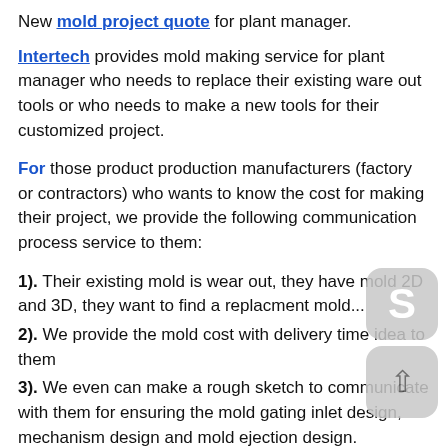New mold project quote for plant manager.
Intertech provides mold making service for plant manager who needs to replace their existing ware out tools or who needs to make a new tools for their customized project.
For those product production manufacturers (factory or contractors) who wants to know the cost for making their project, we provide the following communication process service to them:
1). Their existing mold is wear out, they have mold 2D and 3D, they want to find a replacment mold...
2). We provide the mold cost with delivery time idea to them
3). We even can make a rough sketch to communicate with them for ensuring the mold gating inlet design, mechanism design and mold ejection design.